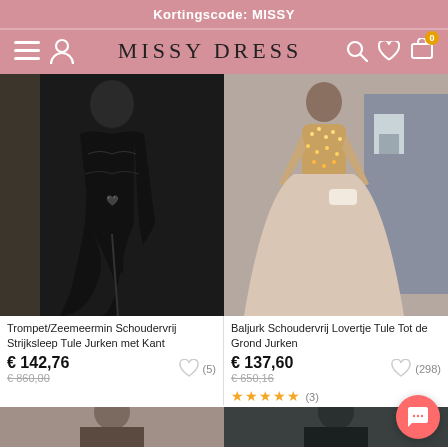Kortingscode: MISSY
[Figure (screenshot): Missy Dress website navigation bar with hamburger menu, user icon, MISSY DRESS logo, search, wishlist, and cart icons]
[Figure (photo): Black mermaid/trumpet off-shoulder tulle dress with lace and slit]
Trompet/Zeemeermin Schoudervrij Strijksleep Tule Jurken met Kant
€ 142,76
€ 860,00
(5)
[Figure (photo): Beige/champagne ball gown with sparkly sequin bodice and long sleeves]
Baljurk Schoudervrij Lovertje Tule Tot de Grond Jurken
€ 137,60
€ 650,16
(298)
★★★★★ (3)